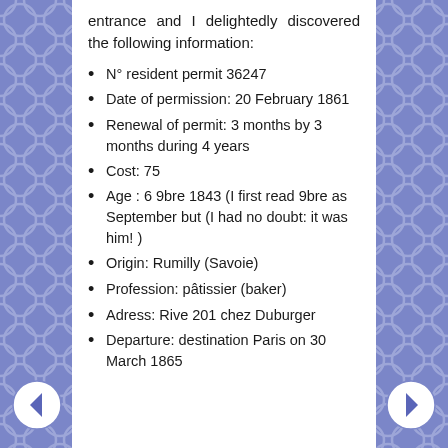entrance and I delightedly discovered the following information:
N° resident permit 36247
Date of permission: 20 February 1861
Renewal of permit: 3 months by 3 months during 4 years
Cost: 75
Age : 6 9bre 1843 (I first read 9bre as September but (I had no doubt: it was him! )
Origin: Rumilly (Savoie)
Profession: pâtissier (baker)
Adress: Rive 201 chez Duburger
Departure: destination Paris on 30 March 1865